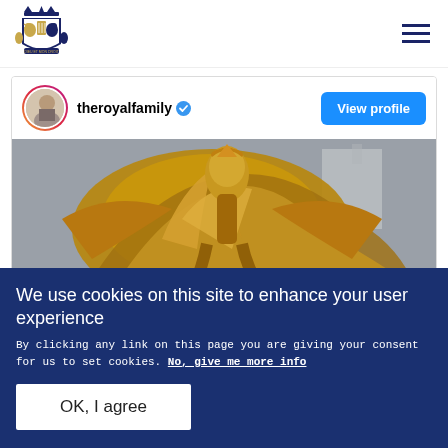The Royal Family - theroyalfamily
[Figure (screenshot): Instagram embed card for theroyalfamily with verified badge and View profile button, showing a golden ornamental sculpture against a grey sky background]
We use cookies on this site to enhance your user experience
By clicking any link on this page you are giving your consent for us to set cookies. No, give me more info
OK, I agree